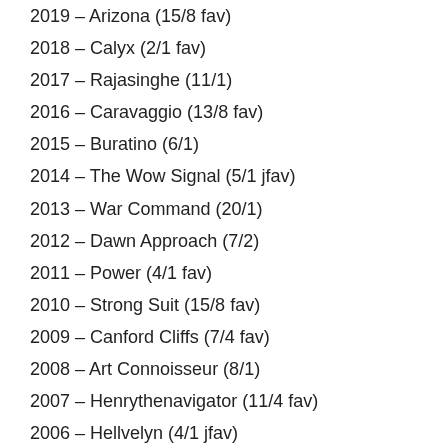2019 – Arizona (15/8 fav)
2018 – Calyx (2/1 fav)
2017 – Rajasinghe (11/1)
2016 – Caravaggio (13/8 fav)
2015 – Buratino (6/1)
2014 – The Wow Signal (5/1 jfav)
2013 – War Command (20/1)
2012 – Dawn Approach (7/2)
2011 – Power (4/1 fav)
2010 – Strong Suit (15/8 fav)
2009 – Canford Cliffs (7/4 fav)
2008 – Art Connoisseur (8/1)
2007 – Henrythenavigator (11/4 fav)
2006 – Hellvelyn (4/1 jfav)
2005 – Red Clubs (11/2)